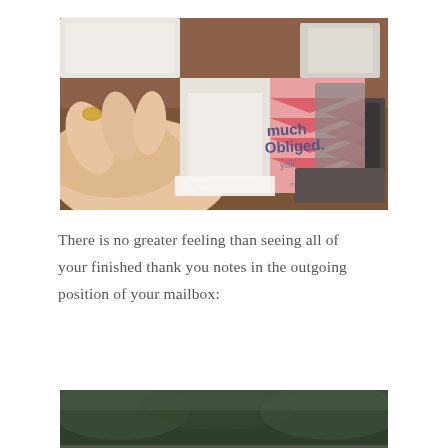[Figure (photo): A hand with gold-painted nails holds a thank-you card that reads 'much Obliged yall' with an image of a couple. The background shows a desk with notebooks and stationery items.]
There is no greater feeling than seeing all of your finished thank you notes in the outgoing position of your mailbox:
[Figure (photo): Partial view of a second photo showing thank you notes in a mailbox, with outdoor greenery in the background.]